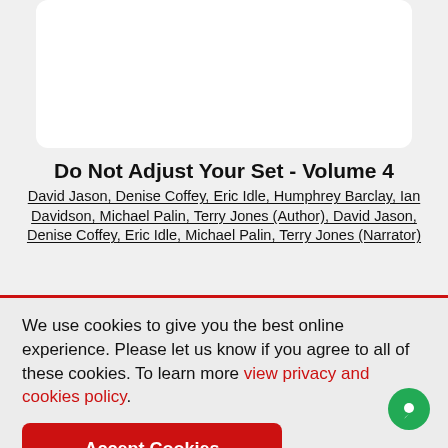[Figure (other): White rounded card at top of page (product image placeholder)]
Do Not Adjust Your Set - Volume 4
David Jason, Denise Coffey, Eric Idle, Humphrey Barclay, Ian Davidson, Michael Palin, Terry Jones (Author), David Jason, Denise Coffey, Eric Idle, Michael Palin, Terry Jones (Narrator)
We use cookies to give you the best online experience. Please let us know if you agree to all of these cookies. To learn more view privacy and cookies policy.
Accept Cookies